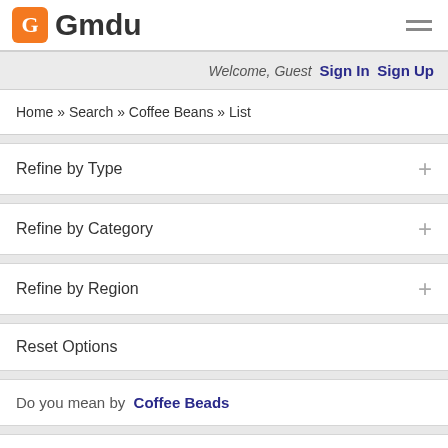Gmdu
Welcome, Guest  Sign In  Sign Up
Home » Search » Coffee Beans » List
Refine by Type
Refine by Category
Refine by Region
Reset Options
Do you mean by  Coffee Beads
CAMEX AGRIC CROPS ENTERPRIZE LTD
CAMEX AGRIC CROPS ENTERPRIZE LTD is located in cameroon, we